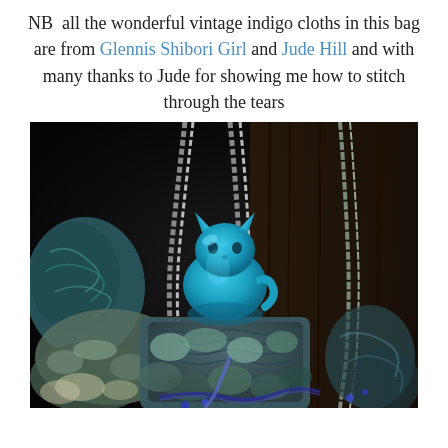NB  all the wonderful vintage indigo cloths in this bag are from Glennis Shibori Girl and Jude Hill and with many thanks to Jude for showing me how to stitch through the tears
[Figure (photo): Close-up photograph of a handmade textile bag decorated with blue and teal indigo cloths, yarn, and embellishments, with a turquoise blue cat figurine sitting on top of the bag, set against a dark background.]